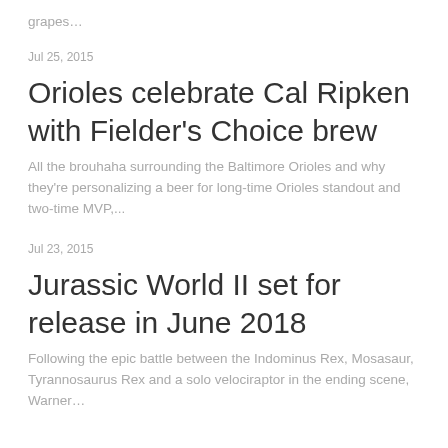grapes...
Jul 25, 2015
Orioles celebrate Cal Ripken with Fielder's Choice brew
All the brouhaha surrounding the Baltimore Orioles and why they're personalizing a beer for long-time Orioles standout and two-time MVP,...
Jul 23, 2015
Jurassic World II set for release in June 2018
Following the epic battle between the Indominus Rex, Mosasaur, Tyrannosaurus Rex and a solo velociraptor in the ending scene, Warner...